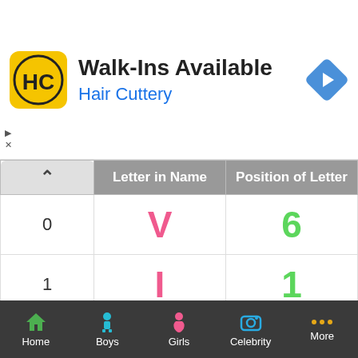[Figure (screenshot): Hair Cuttery advertisement banner with logo, 'Walk-Ins Available' heading, and navigation arrow icon]
| ^ | Letter in Name | Position of Letter |
| --- | --- | --- |
| 0 | V | 6 |
| 1 | I | 1 |
| 2 | T | 4 |
| 3 | A | 1 |
| 4 | S | 3 |
Home | Boys | Girls | Celebrity | More